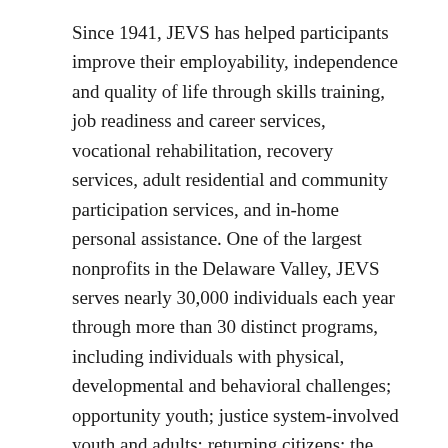Since 1941, JEVS has helped participants improve their employability, independence and quality of life through skills training, job readiness and career services, vocational rehabilitation, recovery services, adult residential and community participation services, and in-home personal assistance. One of the largest nonprofits in the Delaware Valley, JEVS serves nearly 30,000 individuals each year through more than 30 distinct programs, including individuals with physical, developmental and behavioral challenges; opportunity youth; justice system-involved youth and adults; returning citizens; the un- and under-employed; and anyone who's looking for support on their path.
This is a synopsis of our conversation and its main points.